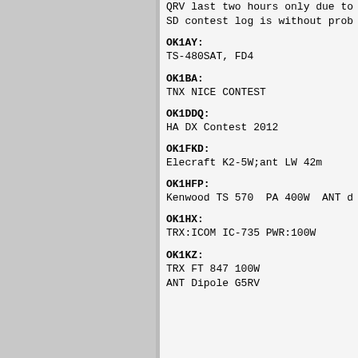QRV last two hours only due to
SD contest log is without prob
OK1AY:
TS-480SAT, FD4
OK1BA:
TNX NICE CONTEST
OK1DDQ:
HA DX Contest 2012
OK1FKD:
Elecraft K2-5W;ant LW 42m
OK1HFP:
Kenwood TS 570  PA 400W  ANT d
OK1HX:
TRX:ICOM IC-735 PWR:100W
OK1KZ:
TRX FT 847 100W
ANT Dipole G5RV